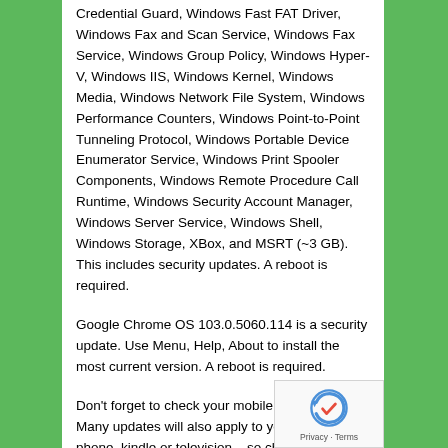Credential Guard, Windows Fast FAT Driver, Windows Fax and Scan Service, Windows Fax Service, Windows Group Policy, Windows Hyper-V, Windows IIS, Windows Kernel, Windows Media, Windows Network File System, Windows Performance Counters, Windows Point-to-Point Tunneling Protocol, Windows Portable Device Enumerator Service, Windows Print Spooler Components, Windows Remote Procedure Call Runtime, Windows Security Account Manager, Windows Server Service, Windows Shell, Windows Storage, XBox, and MSRT (~3 GB). This includes security updates. A reboot is required.
Google Chrome OS 103.0.5060.114 is a security update. Use Menu, Help, About to install the most current version. A reboot is required.
Don't forget to check your mobile devices, too! Many updates will also apply to your tablet, phone, kindle or television – so check your device-appropriate App Store and install updates.